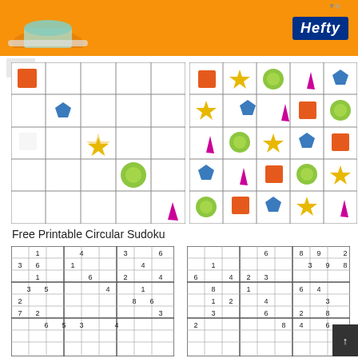[Figure (screenshot): Orange Hefty brand advertisement banner at top of page]
[Figure (illustration): Left shape sudoku grid, 5x5, with colored shapes: orange square top-left row1, blue pentagon row2 col2, star row3 col3, green circle row4 col4, pink triangle row5 col5]
[Figure (illustration): Right shape sudoku grid, 5x5 fully filled with colored shapes: orange square, yellow star, green circle, pink triangle, blue pentagon arranged in rows]
Free Printable Circular Sudoku
[Figure (illustration): Left number sudoku grid, 9x9 partially filled]
[Figure (illustration): Right number sudoku grid, 9x9 partially filled]